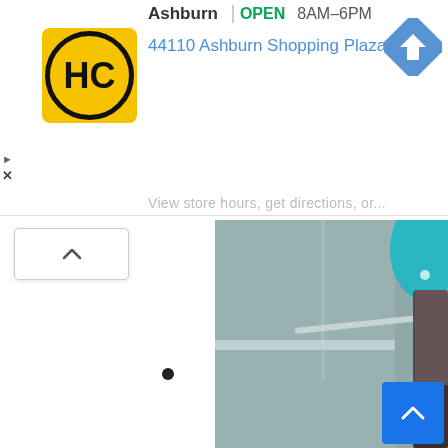Ashburn   OPEN   8AM–6PM
44110 Ashburn Shopping Plaza 190, A...
[Figure (logo): HC (Hungry Chicken or similar) logo: yellow square with black circular border and HC text in black]
[Figure (other): Blue navigation direction diamond arrow icon]
View store hours, get directions, or...
[Figure (photo): Blurred close-up photo showing a light gray or white wall/door interior scene with a teal/turquoise hat and dark glove or hand visible on the right side]